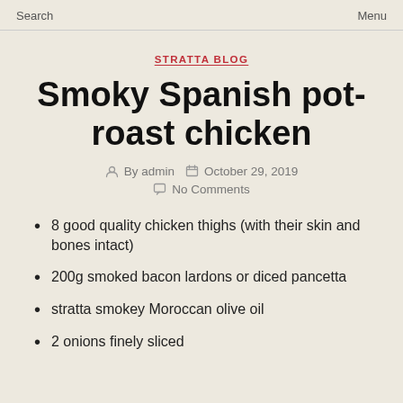Search    Menu
STRATTA BLOG
Smoky Spanish pot-roast chicken
By admin   October 29, 2019   No Comments
8 good quality chicken thighs (with their skin and bones intact)
200g smoked bacon lardons or diced pancetta
stratta smokey Moroccan olive oil
2 onions finely sliced